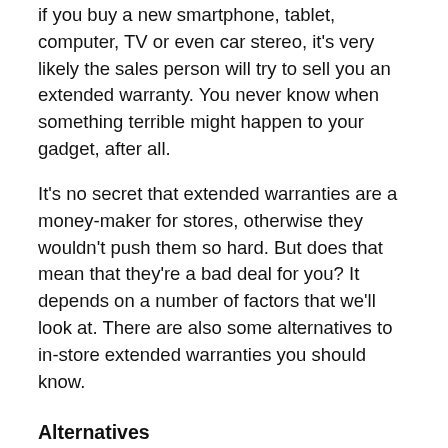if you buy a new smartphone, tablet, computer, TV or even car stereo, it's very likely the sales person will try to sell you an extended warranty. You never know when something terrible might happen to your gadget, after all.
It's no secret that extended warranties are a money-maker for stores, otherwise they wouldn't push them so hard. But does that mean that they're a bad deal for you? It depends on a number of factors that we'll look at. There are also some alternatives to in-store extended warranties you should know.
Alternatives
Before you even consider any extended warranty, check with your credit card company. It might give you an extended warranty or extra benefits automatically when you buy with certain cards. Some cards will extend the